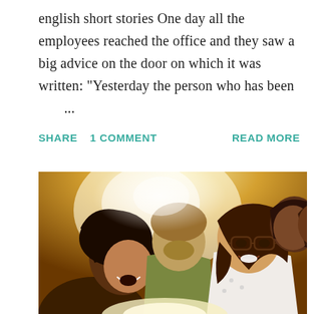english short stories One day all the employees reached the office and they saw a big advice on the door on which it was written: "Yesterday the person who has been ...
SHARE   1 COMMENT   READ MORE
[Figure (photo): Group of young people huddled together, smiling and looking at something, with bright sunlight in the background. A woman with glasses is prominent in the center-right.]